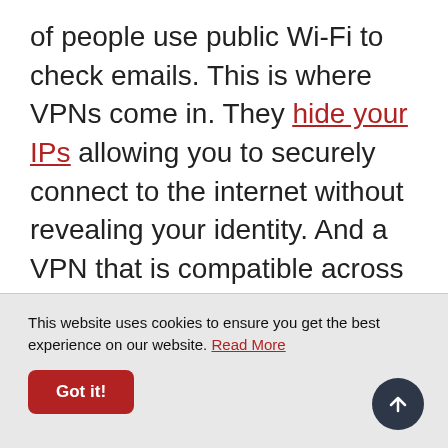of people use public Wi-Fi to check emails. This is where VPNs come in. They hide your IPs allowing you to securely connect to the internet without revealing your identity. And a VPN that is compatible across all your devices makes sure that your real IP address and sensitive data is never exposed online.
This website uses cookies to ensure you get the best experience on our website. Read More
Got it!